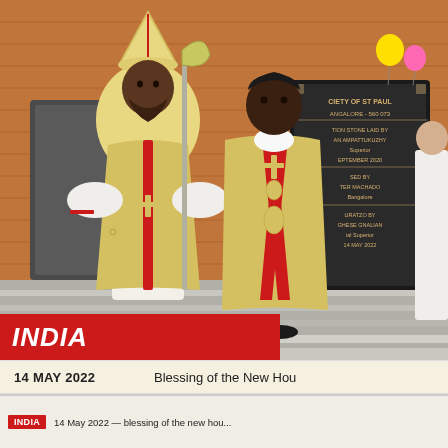[Figure (photo): Two Catholic clergy in ceremonial vestments (gold chasubles) standing in front of a red brick building. The left figure wears a bishop's mitre and holds a ceremonial staff. A dedication plaque for the Society of St Paul, Bangalore - 560 073 is visible on the wall to the right. Balloons are visible in the background.]
INDIA
14 MAY 2022    Blessing of the New Hou...